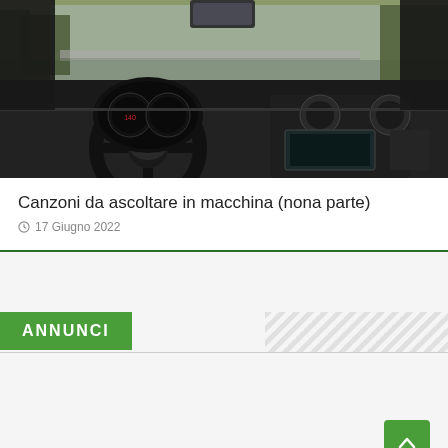[Figure (photo): Car interior dashboard view showing steering wheel, instrument cluster, and center console of a modern car, photographed from driver's perspective]
Canzoni da ascoltare in macchina (nona parte)
17 Giugno 2022
ANNUNCI